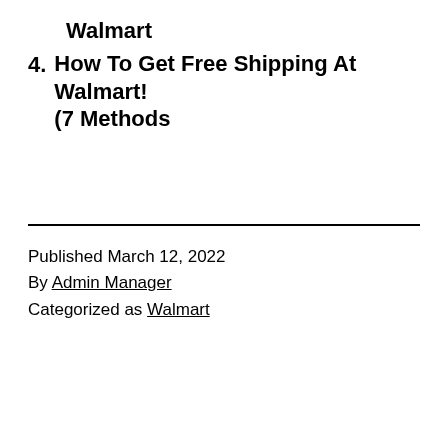Walmart
4. How To Get Free Shipping At Walmart! (7 Methods
Published March 12, 2022
By Admin Manager
Categorized as Walmart